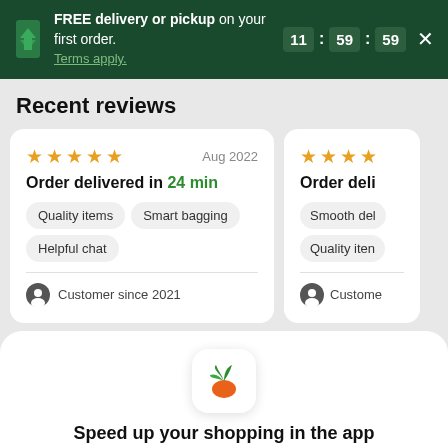FREE delivery or pickup on your first order. Terms apply. 11:59:59
Recent reviews
★★★★★  Aug 2022
Order delivered in 24 min
Quality items  Smart bagging
Helpful chat
Customer since 2021
★★★★  Order deli
Smooth del
Quality iten
Custome
[Figure (logo): Instacart carrot app icon — green leaves, orange carrot body]
Speed up your shopping in the app
Continue in app
Continue in browser